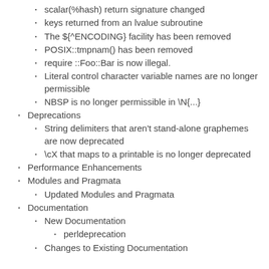scalar(%hash) return signature changed
keys returned from an lvalue subroutine
The ${^ENCODING} facility has been removed
POSIX::tmpnam() has been removed
require ::Foo::Bar is now illegal.
Literal control character variable names are no longer permissible
NBSP is no longer permissible in \N{...}
Deprecations
String delimiters that aren't stand-alone graphemes are now deprecated
\cX that maps to a printable is no longer deprecated
Performance Enhancements
Modules and Pragmata
Updated Modules and Pragmata
Documentation
New Documentation
perldeprecation
Changes to Existing Documentation